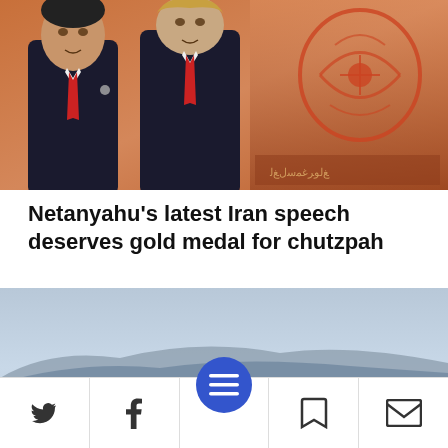[Figure (photo): Two men in dark suits with red ties standing in front of an orange-toned background with the Iranian flag emblem and Arabic/Persian script. A political illustration showing Netanyahu and Trump.]
Netanyahu's latest Iran speech deserves gold medal for chutzpah
[Figure (photo): A military surveillance aircraft (drone or jet) flying over a coastal city and bay, with mountains in the background. Gray sky and blue water below.]
Social sharing toolbar with Twitter, Facebook, menu (hamburger), bookmark, and email icons